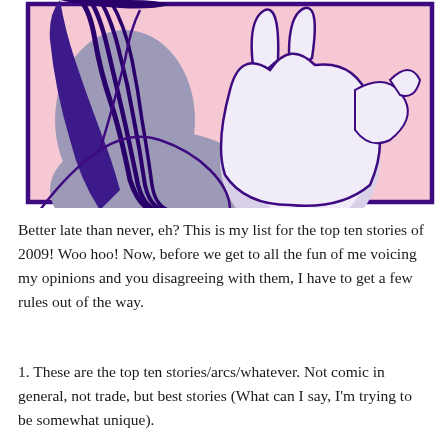[Figure (illustration): A comic panel with a pink/lavender background showing two anime-style characters. One character has long dark purple/black hair and wears a gray top. The other character appears white/light colored. The panel is bordered with a thick dark purple border.]
Better late than never, eh? This is my list for the top ten stories of 2009! Woo hoo! Now, before we get to all the fun of me voicing my opinions and you disagreeing with them, I have to get a few rules out of the way.
1. These are the top ten stories/arcs/whatever. Not comic in general, not trade, but best stories (What can I say, I'm trying to be somewhat unique).